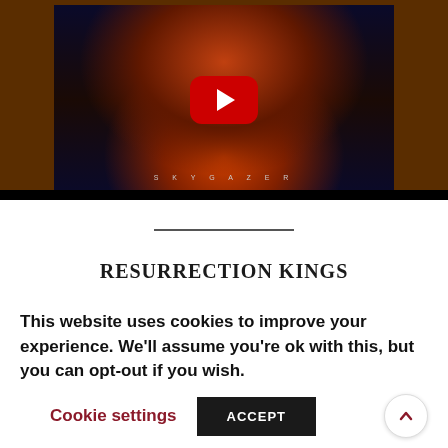[Figure (screenshot): YouTube video thumbnail showing album artwork for 'Skygazer' with a robed figure holding scales, cosmic/planetary imagery, fiery orange tones, and a large red YouTube play button overlay]
RESURRECTION KINGS
This website uses cookies to improve your experience. We'll assume you're ok with this, but you can opt-out if you wish.
Cookie settings   ACCEPT